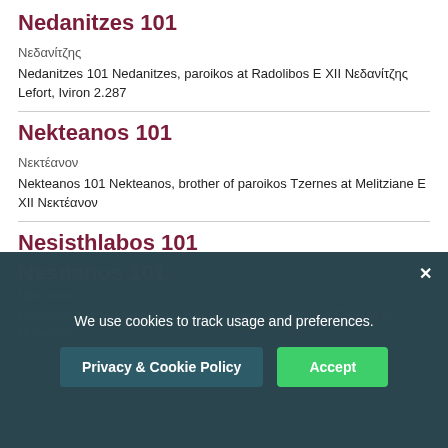Nedanitzes 101
Νεδανίτζης
Nedanitzes 101 Nedanitzes, paroikos at Radolibos E XII Νεδανίτζης Lefort, Iviron 2.287
Nekteanos 101
Νεκτέανον
Nekteanos 101 Nekteanos, brother of paroikos Tzernes at Melitziane E XII Νεκτέανον
Nesisthlabos 101
Νεσισθλάβος
Nesisthlabos 101 Nesisthlabos, ruler of the Rus' E XI / M XI
Nesnanos 101
Νεσνάνος
Nesnanos 101 Nesnanos, taxpayer at chorion at Radolibos E XI / M XI Νεσνάνου
We use cookies to track usage and preferences.
Privacy & Cookie Policy
Accept